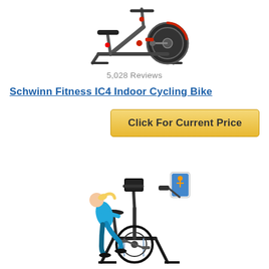[Figure (photo): Indoor spinning cycling bike, dark gray/black with red accents, flywheel visible on right side, viewed from front-right angle]
5,028 Reviews
Schwinn Fitness IC4 Indoor Cycling Bike
[Figure (other): Button labeled 'Click For Current Price' with golden/yellow background]
[Figure (photo): Woman in blue workout outfit riding an upright exercise bike with a phone/tablet holder mounted on handlebars showing a cycling app]